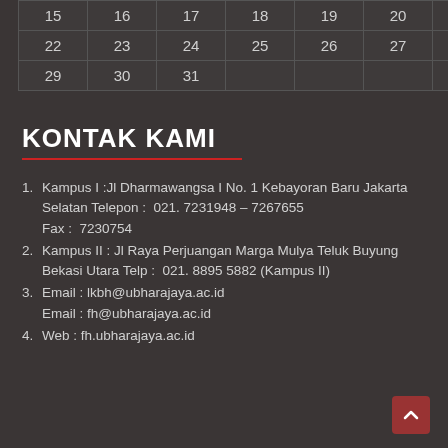| 15 | 16 | 17 | 18 | 19 | 20 | 21 |
| 22 | 23 | 24 | 25 | 26 | 27 | 28 |
| 29 | 30 | 31 |  |  |  |  |
KONTAK KAMI
Kampus I :Jl Dharmawangsa I No. 1 Kebayoran Baru Jakarta Selatan Telepon :  021. 7231948 – 7267655
Fax :  7230754
Kampus II : Jl Raya Perjuangan Marga Mulya Teluk Buyung Bekasi Utara Telp :  021. 8895 5882 (Kampus II)
Email : lkbh@ubharajaya.ac.id
Email : fh@ubharajaya.ac.id
Web : fh.ubharajaya.ac.id